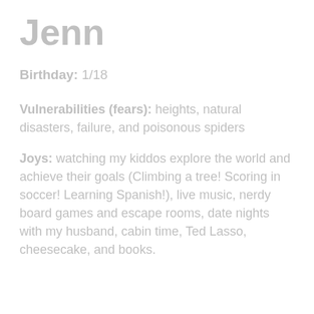Jenn
Birthday: 1/18
Vulnerabilities (fears): heights, natural disasters, failure, and poisonous spiders
Joys: watching my kiddos explore the world and achieve their goals (Climbing a tree! Scoring in soccer! Learning Spanish!), live music, nerdy board games and escape rooms, date nights with my husband, cabin time, Ted Lasso, cheesecake, and books.